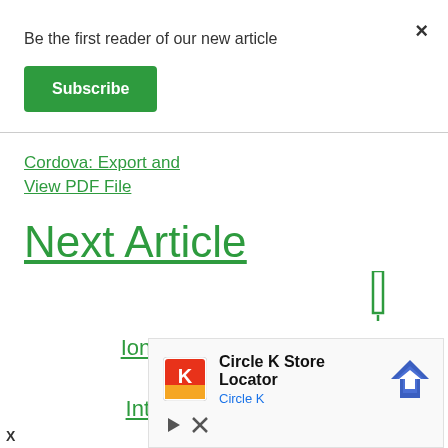×
Be the first reader of our new article
Subscribe
Cordova: Export and View PDF File
Next Article
Ionic 4 and Angular 7 Tutorial: HTTP Interceptor Example
[Figure (other): Circle K Store Locator advertisement with Circle K logo, navigation arrow icon, and ad controls]